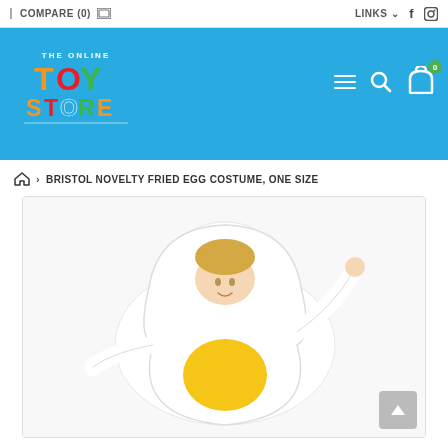COMPARE (0)  |  LINKS  f  [instagram]
[Figure (logo): The Online Toy Store logo with colorful text on blue background]
BRISTOL NOVELTY FRIED EGG COSTUME, ONE SIZE
[Figure (photo): Person wearing a large white fried egg novelty costume with yellow yolk circle, posing with arm raised on white background]